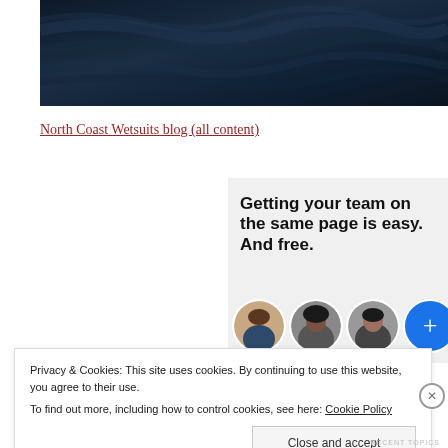[Figure (photo): Dark navy blue wetsuit fabric texture close-up photograph used as hero banner image]
North Coast Wetsuits blog (all content)
[Figure (infographic): WordPress.com ad panel with text 'Getting your team on the same page is easy. And free.' with three circular profile photo avatars and a blue plus button]
Privacy & Cookies: This site uses cookies. By continuing to use this website, you agree to their use.
To find out more, including how to control cookies, see here: Cookie Policy
Close and accept